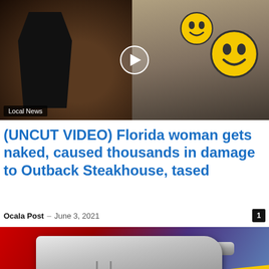[Figure (photo): Split video thumbnail: left side shows a person in dark clothing in a restaurant setting with a play button overlay; right side shows restaurant interior with two smiley face emoji overlays covering faces. Badge reading 'Local News' in bottom left.]
(UNCUT VIDEO) Florida woman gets naked, caused thousands in damage to Outback Steakhouse, tased
Ocala Post – June 3, 2021
[Figure (photo): Crime scene image showing a handgun over a yellow police tape reading 'POLICE DO NOT' on a red and blue background.]